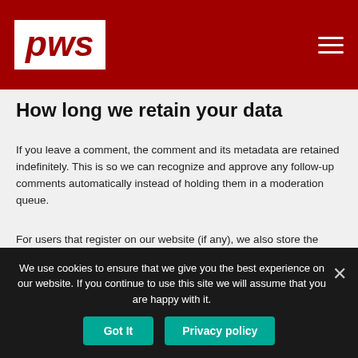pws
How long we retain your data
If you leave a comment, the comment and its metadata are retained indefinitely. This is so we can recognize and approve any follow-up comments automatically instead of holding them in a moderation queue.
For users that register on our website (if any), we also store the personal information they provide in their user profile. All users can see, edit, or delete their personal information at any time (except they cannot change their username). Website administrators can also see and edit that information.
We use cookies to ensure that we give you the best experience on our website. If you continue to use this site we will assume that you are happy with it.